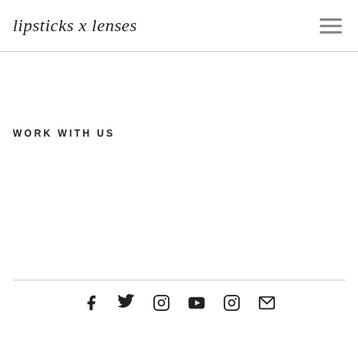lipsticks x lenses
WORK WITH US
[Figure (other): Social media icons: Facebook, Twitter, Instagram, YouTube, Instagram, Email]